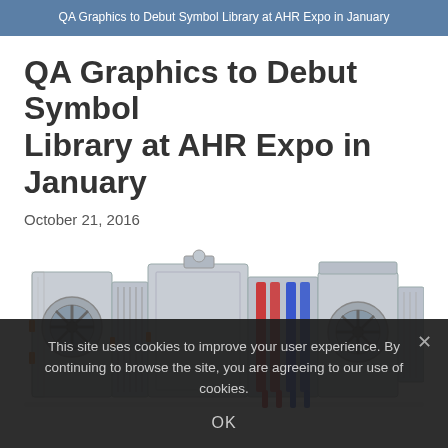QA Graphics to Debut Symbol Library at AHR Expo in January
QA Graphics to Debut Symbol Library at AHR Expo in January
October 21, 2016
[Figure (engineering-diagram): 3D rendering of a modular air handling unit (AHU) showing multiple sections including fan units, filters, heating/cooling coils with red and blue tubes, and ductwork sections in metallic silver/grey finish]
This site uses cookies to improve your user experience. By continuing to browse the site, you are agreeing to our use of cookies.
OK